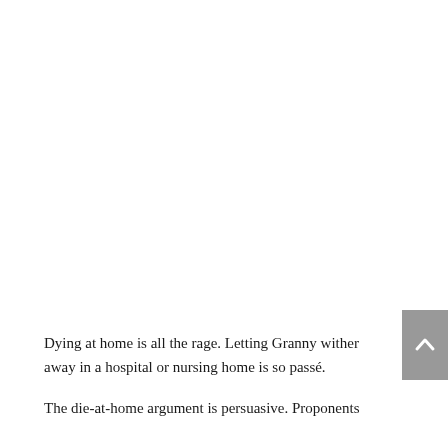[Figure (other): Gray scroll-to-top button with upward chevron arrow, positioned at the right edge of the page]
Dying at home is all the rage. Letting Granny wither away in a hospital or nursing home is so passé.
The die-at-home argument is persuasive. Proponents